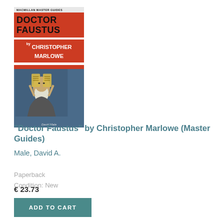[Figure (photo): Book cover of 'Doctor Faustus by Christopher Marlowe' — Macmillan Master Guides series. Red and white striped header, black bold title, red author block, blue background with dark illustration of an elderly bearded figure.]
"Doctor Faustus" by Christopher Marlowe (Master Guides)
Male, David A.
Paperback
Condition: New
€ 23.73
ADD TO CART